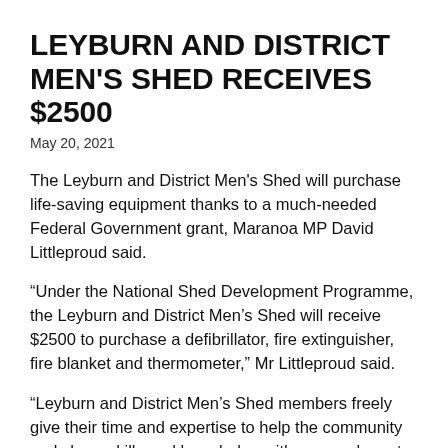LEYBURN AND DISTRICT MEN'S SHED RECEIVES $2500
May 20, 2021
The Leyburn and District Men's Shed will purchase life-saving equipment thanks to a much-needed Federal Government grant, Maranoa MP David Littleproud said.
“Under the National Shed Development Programme, the Leyburn and District Men’s Shed will receive $2500 to purchase a defibrillator, fire extinguisher, fire blanket and thermometer,” Mr Littleproud said.
“Leyburn and District Men’s Shed members freely give their time and expertise to help the community and share skills and knowledge with anyone keen to learn wood and metal working and help with community projects.